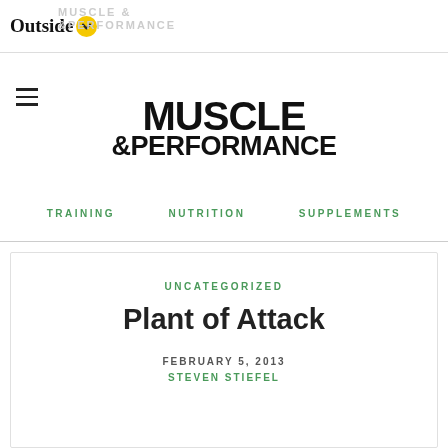Outside | Muscle & Performance
[Figure (logo): Outside logo with yellow badge containing a checkmark/down arrow, and faint watermark text 'MUSCLE & PERFORMANCE' behind]
[Figure (logo): Muscle & Performance bold logo text, large black uppercase]
TRAINING   NUTRITION   SUPPLEMENTS
UNCATEGORIZED
Plant of Attack
FEBRUARY 5, 2013
STEVEN STIEFEL